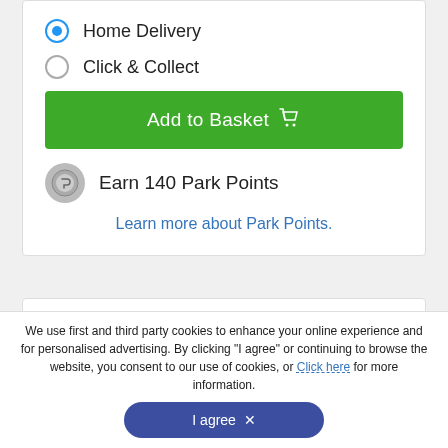Home Delivery
Click & Collect
Add to Basket
Earn 140 Park Points
Learn more about Park Points.
TRADE IN & TRADE UP
Looking to trade in your photo equipment?
Get a quote now!
We use first and third party cookies to enhance your online experience and for personalised advertising. By clicking "I agree" or continuing to browse the website, you consent to our use of cookies, or Click here for more information.
I agree